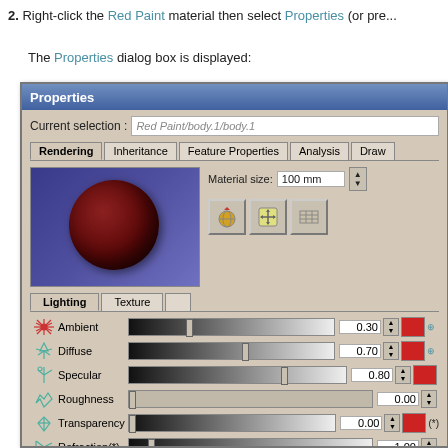2. Right-click the Red Paint material then select Properties (or pre...
The Properties dialog box is displayed:
[Figure (screenshot): Properties dialog box showing Rendering tab with a red paint material sphere preview. Contains Material size field (100 mm), Lighting and Texture tabs, and property rows: Ambient (0.30), Diffuse (0.70), Specular (0.80), Roughness (0.00), Transparency (0.00), Refraction(*) (1.00), each with sliders, value fields, spin buttons, and color swatches.]